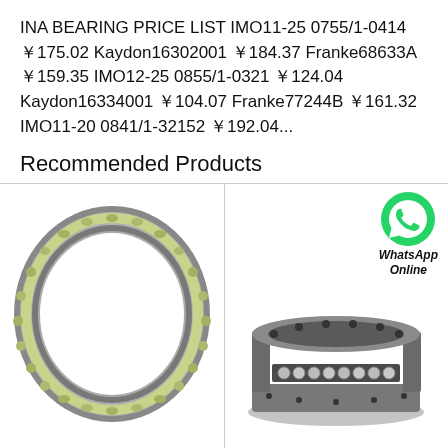INA BEARING PRICE LIST IMO11-25 0755/1-0414 ￥175.02 Kaydon16302001 ￥184.37 Franke68633A ￥159.35 IMO12-25 0855/1-0321 ￥124.04 Kaydon16334001 ￥104.07 Franke77244B ￥161.32 IMO11-20 0841/1-32152 ￥192.04...
Recommended Products
[Figure (photo): Thin section ball bearing ring (INA/IMO type), showing green ball cage with steel balls in a circular ring, silver metallic raceways, top view]
11-20 0841/1-32152 IMO Slewing Ring Beari
[Figure (photo): IMO slewing ring bearing (12-25 0855/1-0321 type), gray annular ring with visible ball rows and bolt holes, perspective/3D view. WhatsApp Online badge in upper right.]
12-25 0855/1-0321 IMO Slewing Ring Bearin
All Products
Contact Now